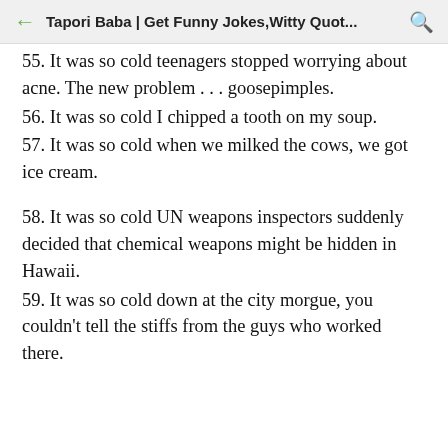Tapori Baba | Get Funny Jokes,Witty Quot...
55. It was so cold teenagers stopped worrying about acne. The new problem . . . goosepimples.
56. It was so cold I chipped a tooth on my soup.
57. It was so cold when we milked the cows, we got ice cream.
58. It was so cold UN weapons inspectors suddenly decided that chemical weapons might be hidden in Hawaii.
59. It was so cold down at the city morgue, you couldn't tell the stiffs from the guys who worked there.